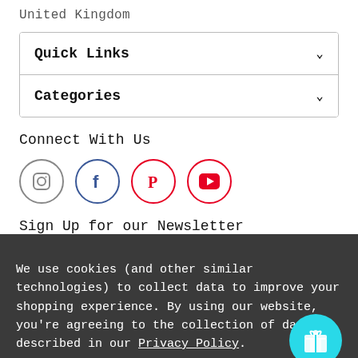United Kingdom
Quick Links
Categories
Connect With Us
[Figure (infographic): Four social media icons in circles: Instagram (grey), Facebook (blue), Pinterest (red), YouTube (red)]
Sign Up for our Newsletter
We use cookies (and other similar technologies) to collect data to improve your shopping experience. By using our website, you're agreeing to the collection of data as described in our Privacy Policy.
Settings | Reject all | Accept All Cookies